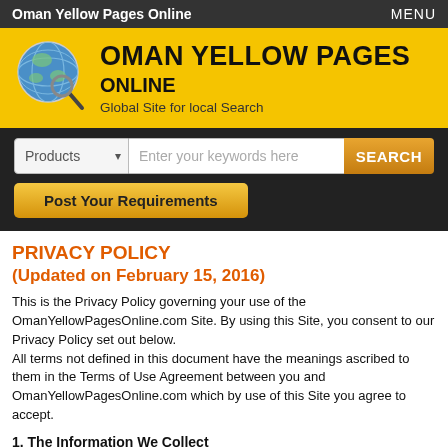Oman Yellow Pages Online   MENU
[Figure (logo): Oman Yellow Pages Online logo with globe magnifying glass icon and text OMAN YELLOW PAGES ONLINE - Global Site for local Search on yellow background]
[Figure (screenshot): Search bar with Products dropdown, keyword input field, SEARCH button, and Post Your Requirements button on dark background]
PRIVACY POLICY
(Updated on February 15, 2016)
This is the Privacy Policy governing your use of the OmanYellowPagesOnline.com Site. By using this Site, you consent to our Privacy Policy set out below.
All terms not defined in this document have the meanings ascribed to them in the Terms of Use Agreement between you and OmanYellowPagesOnline.com which by use of this Site you agree to accept.
1. The Information We Collect
1.1 Registration Information. At the time you register to become a Member of the Site, you will be asked to fill out a registration form which requires you provide information such as your name, address